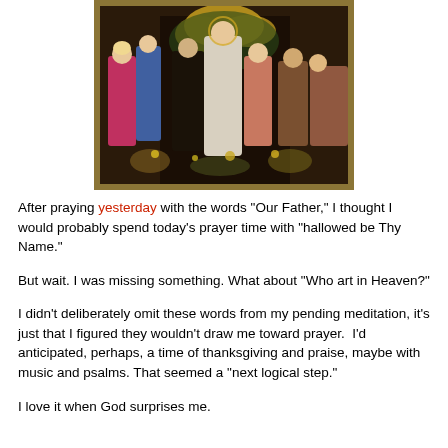[Figure (illustration): Medieval religious painting/illustration showing a group of figures including angels and people in period clothing gathered together, with floral elements in the background. The image has a dark gold/brown ornate frame border.]
After praying yesterday with the words "Our Father," I thought I would probably spend today's prayer time with "hallowed be Thy Name."
But wait. I was missing something. What about "Who art in Heaven?"
I didn't deliberately omit these words from my pending meditation, it's just that I figured they wouldn't draw me toward prayer.  I'd anticipated, perhaps, a time of thanksgiving and praise, maybe with music and psalms. That seemed a "next logical step."
I love it when God surprises me.